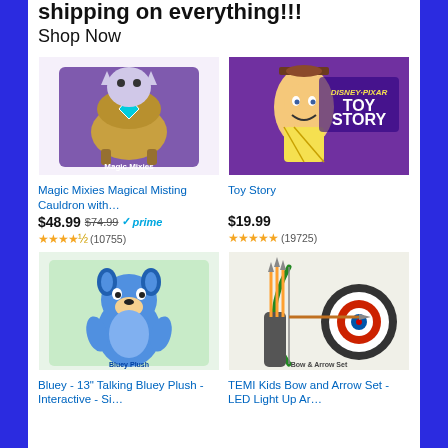shipping on everything!!!
Shop Now
[Figure (photo): Magic Mixies Magical Misting Cauldron product box photo]
Magic Mixies Magical Misting Cauldron with…
$48.99  $74.99  prime (10755)
[Figure (photo): Disney Pixar Toy Story product image with Woody character]
Toy Story
$19.99  (19725)
[Figure (photo): Bluey 13 inch Talking Bluey Plush toy in box]
Bluey - 13" Talking Bluey Plush - Interactive - Si…
[Figure (photo): TEMI Kids Bow and Arrow Set with LED lights, arrows, and target]
TEMI Kids Bow and Arrow Set - LED Light Up Ar…